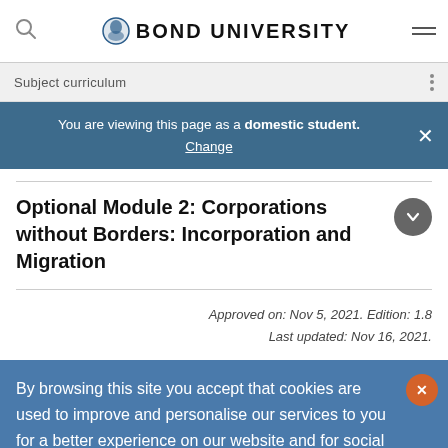BOND UNIVERSITY
Subject curriculum
You are viewing this page as a domestic student. Change
Optional Module 2: Corporations without Borders: Incorporation and Migration
Approved on: Nov 5, 2021. Edition: 1.8
Last updated: Nov 16, 2021.
By browsing this site you accept that cookies are used to improve and personalise our services to you for a better experience on our website and for social activity. If you continue, we will assume that you agree to our use of cookies statement.